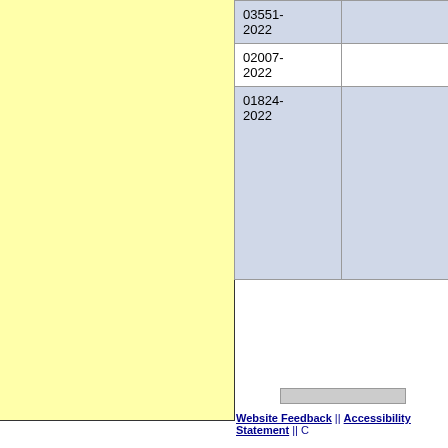[Figure (other): Yellow highlighted panel on the left side of the page]
|  |  |
| --- | --- |
| 03551-2022 |  |
| 02007-2022 |  |
| 01824-2022 |  |
Website Feedback || Accessibility Statement || C